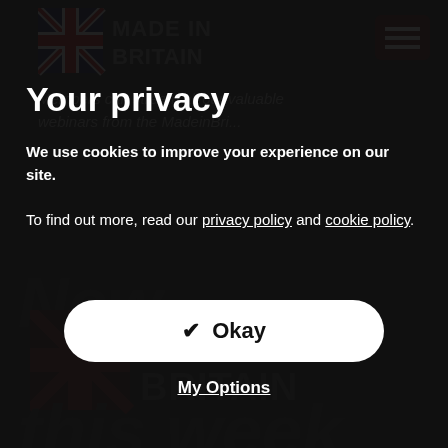[Figure (screenshot): Made in Britain website screenshot showing logo at top and background content, partially visible behind a cookie consent modal overlay]
Your privacy
We use cookies to improve your experience on our site.
To find out more, read our privacy policy and cookie policy.
Okay
My Options